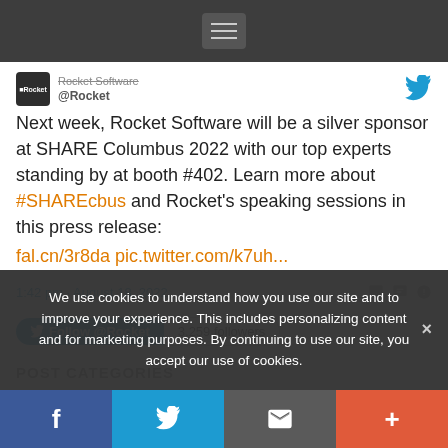[Figure (screenshot): Navigation bar with hamburger menu icon on dark background]
Rocket Software @Rocket — Next week, Rocket Software will be a silver sponsor at SHARE Columbus 2022 with our top experts standing by at booth #402. Learn more about #SHAREcbus and Rocket's speaking sessions in this press release: fal.cn/3r8da pic.twitter.com/k7uh...
1:42 pm · August 18, 2022
Follow @Rocket  3,259 followers
POST CATEGORIES
We use cookies to understand how you use our site and to improve your experience. This includes personalizing content and for marketing purposes. By continuing to use our site, you accept our use of cookies.
[Figure (infographic): Bottom share bar with Facebook, Twitter, Email, and Add buttons]